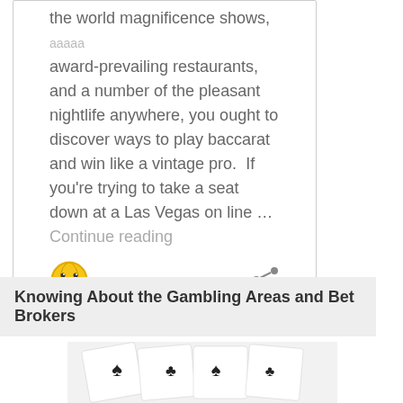the world magnificence shows, ... award-prevailing restaurants, and a number of the pleasant nightlife anywhere, you ought to discover ways to play baccarat and win like a vintage pro.  If you're trying to take a seat down at a Las Vegas on line … Continue reading
[Figure (illustration): Emoji-style avatar icon with smiley face and globe/world design]
[Figure (illustration): Share/network icon]
Knowing About the Gambling Areas and Bet Brokers
[Figure (photo): Close-up photo of playing cards showing black suit symbols on white cards]